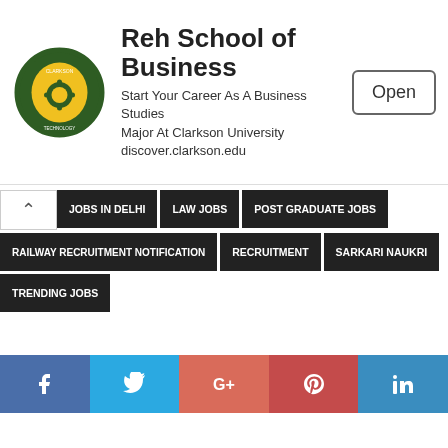[Figure (screenshot): Advertisement banner for Reh School of Business at Clarkson University with logo, text, and Open button]
JOBS IN DELHI
LAW JOBS
POST GRADUATE JOBS
RAILWAY RECRUITMENT NOTIFICATION
RECRUITMENT
SARKARI NAUKRI
TRENDING JOBS
[Figure (screenshot): Social media share buttons: Facebook, Twitter, Google+, Pinterest, LinkedIn]